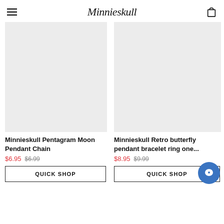Minnieskull
[Figure (photo): Product image placeholder – light grey rectangle for Minnieskull Pentagram Moon Pendant Chain]
[Figure (photo): Product image placeholder – light grey rectangle for Minnieskull Retro butterfly pendant bracelet ring one...]
Minnieskull Pentagram Moon Pendant Chain
Minnieskull Retro butterfly pendant bracelet ring one...
$6.95  $6.99
$8.95  $9.99
QUICK SHOP
QUICK SHOP